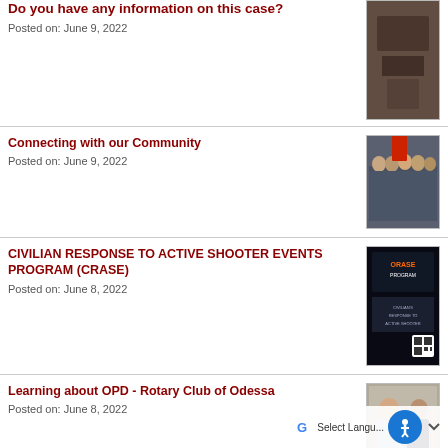Do you have any information on this case?
Posted on: June 9, 2022
[Figure (photo): Dark machinery or equipment photo]
Connecting with our Community
Posted on: June 9, 2022
[Figure (photo): Group photo of people standing together]
CIVILIAN RESPONSE TO ACTIVE SHOOTER EVENTS PROGRAM (CRASE)
Posted on: June 8, 2022
[Figure (photo): CRASE program poster/flyer with QR code]
Learning about OPD - Rotary Club of Odessa
Posted on: June 8, 2022
[Figure (photo): Two men standing together, one in police uniform]
Bustin' for Badges - $110,000 raised each agency
Posted on: June 7, 2022
[Figure (photo): Partial photo of event]